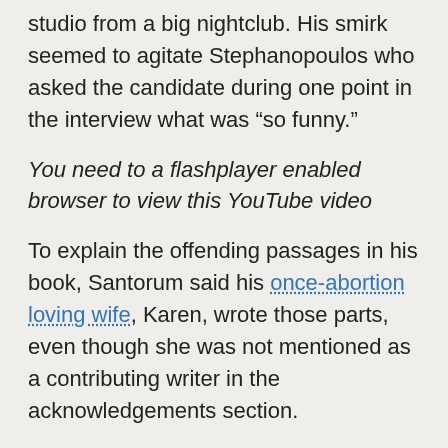studio from a big nightclub. His smirk seemed to agitate Stephanopoulos who asked the candidate during one point in the interview what was “so funny.”
You need to a flashplayer enabled browser to view this YouTube video
To explain the offending passages in his book, Santorum said his once-abortion loving wife, Karen, wrote those parts, even though she was not mentioned as a contributing writer in the acknowledgements section.
According to Rick or Karen are whatever ghost writer had to channel a village idiot to write the Bronze Age text:
“Sadly the propaganda campaign launched in the 1960s…